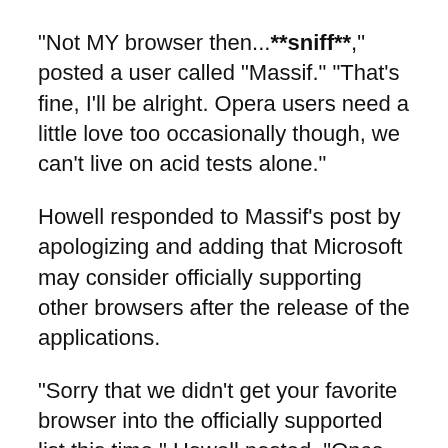"Not MY browser then...**sniff**," posted a user called "Massif." "That's fine, I'll be alright. Opera users need a little love too occasionally though, we can't live on acid tests alone."
Howell responded to Massif's post by apologizing and adding that Microsoft may consider officially supporting other browsers after the release of the applications.
"Sorry that we didn't get your favorite browser into the officially supported list this time," Howell posted. "Once the Web Apps release we'll investigate expanding our supported browser matrix. Give it a try in Opera and let us know if you see issues."